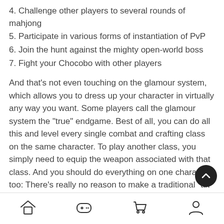4. Challenge other players to several rounds of mahjong
5. Participate in various forms of instantiation of PvP
6. Join the hunt against the mighty open-world boss
7. Fight your Chocobo with other players
And that's not even touching on the glamour system, which allows you to dress up your character in virtually any way you want. Some players call the glamour system the "true" endgame. Best of all, you can do all this and level every single combat and crafting class on the same character. To play another class, you simply need to equip the weapon associated with that class. And you should do everything on one character, too: There's really no reason to make a traditional "alt" in Final Fantasy XIV.
FFXIV also may not satisfy you if you're looking for a deep challenge, unless you're willing to devote time to endgame "extreme" and